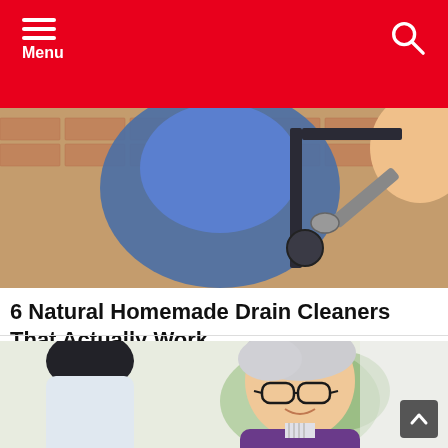Menu
[Figure (illustration): Cartoon illustration of a plumber in blue work clothes fixing pipes under a sink against a brick wall background]
6 Natural Homemade Drain Cleaners That Actually Work
healthick.com | Sponsored
[Figure (photo): Photo of an elderly man with glasses and white hair wearing a purple sweater speaking with a younger man in a white coat, with green plants visible in the background]